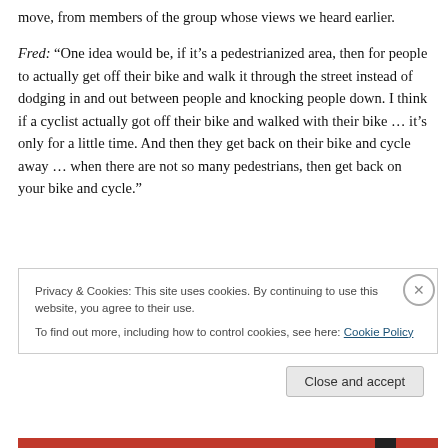move, from members of the group whose views we heard earlier.
Fred: “One idea would be, if it’s a pedestrianized area, then for people to actually get off their bike and walk it through the street instead of dodging in and out between people and knocking people down. I think if a cyclist actually got off their bike and walked with their bike … it’s only for a little time. And then they get back on their bike and cycle away … when there are not so many pedestrians, then get back on your bike and cycle.”
Privacy & Cookies: This site uses cookies. By continuing to use this website, you agree to their use.
To find out more, including how to control cookies, see here: Cookie Policy